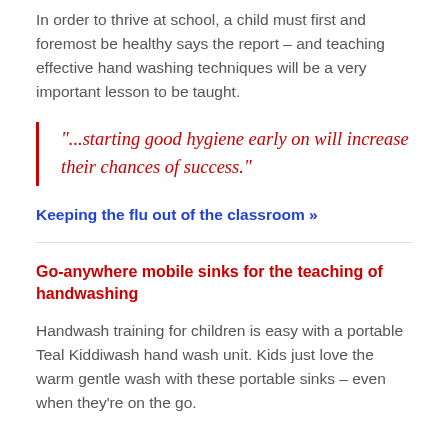In order to thrive at school, a child must first and foremost be healthy says the report – and teaching effective hand washing techniques will be a very important lesson to be taught.
“...starting good hygiene early on will increase their chances of success.”
Keeping the flu out of the classroom »
Go-anywhere mobile sinks for the teaching of handwashing
Handwash training for children is easy with a portable Teal Kiddiwash hand wash unit. Kids just love the warm gentle wash with these portable sinks – even when they’re on the go.